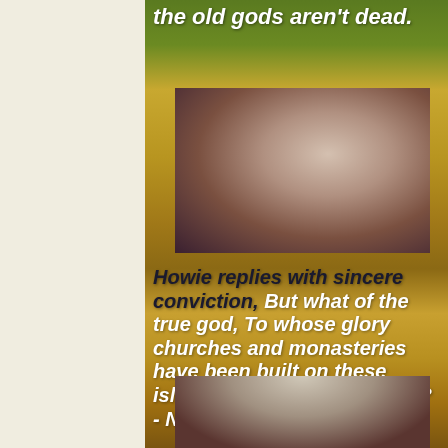the old gods aren't dead.
[Figure (photo): Blurred still from a film scene showing a figure in a dark interior setting with reddish tones]
Howie replies with sincere conviction, But what of the true god, To whose glory churches and monasteries have been built on these islands for generations past? - Now Sir,
[Figure (photo): Film still showing a man in a suit against a reddish interior background]